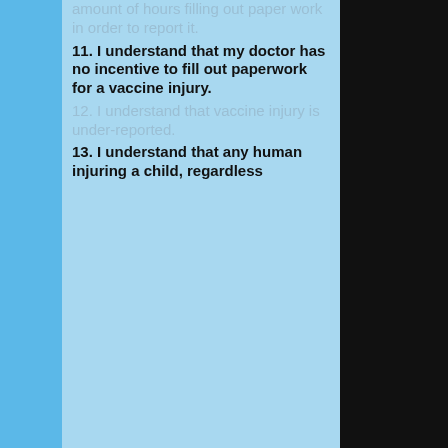amount of hours filling out paper work in order to report it.
11. I understand that my doctor has no incentive to fill out paperwork for a vaccine injury.
12. I understand that vaccine injury is under-reported.
13. I understand that any human injuring a child, regardless